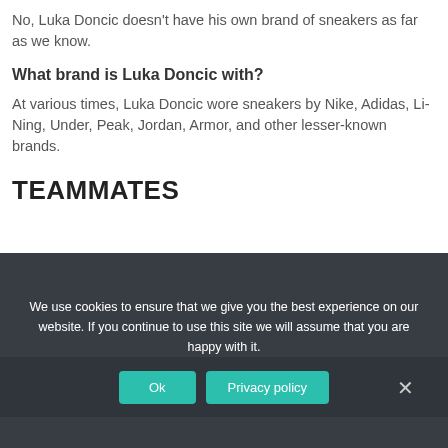No, Luka Doncic doesn't have his own brand of sneakers as far as we know.
What brand is Luka Doncic with?
At various times, Luka Doncic wore sneakers by Nike, Adidas, Li-Ning, Under, Peak, Jordan, Armor, and other lesser-known brands.
TEAMMATES
[Figure (photo): Dark/black background image area partially visible at bottom of page]
We use cookies to ensure that we give you the best experience on our website. If you continue to use this site we will assume that you are happy with it.